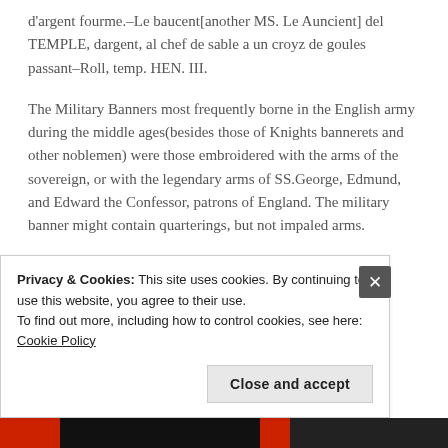d'argent fourme.–Le baucent[another MS. Le Auncient] del TEMPLE, dargent, al chef de sable a un croyz de goules passant–Roll, temp. HEN. III.
The Military Banners most frequently borne in the English army during the middle ages(besides those of Knights bannerets and other noblemen) were those embroidered with the arms of the sovereign, or with the legendary arms of SS.George, Edmund, and Edward the Confessor, patrons of England. The military banner might contain quarterings, but not impaled arms.
A red banner, charged with the symbol of the Holy
Privacy & Cookies: This site uses cookies. By continuing to use this website, you agree to their use.
To find out more, including how to control cookies, see here: Cookie Policy